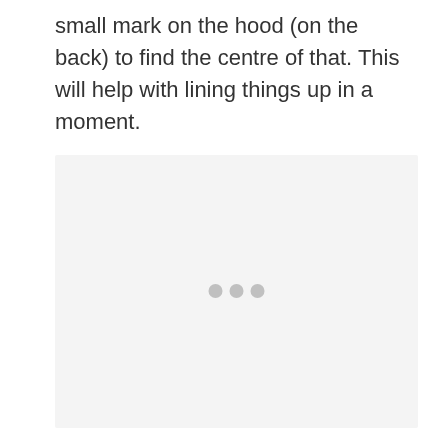small mark on the hood (on the back) to find the centre of that. This will help with lining things up in a moment.
[Figure (photo): Large image placeholder area with three grey dots indicating a loading or empty image state]